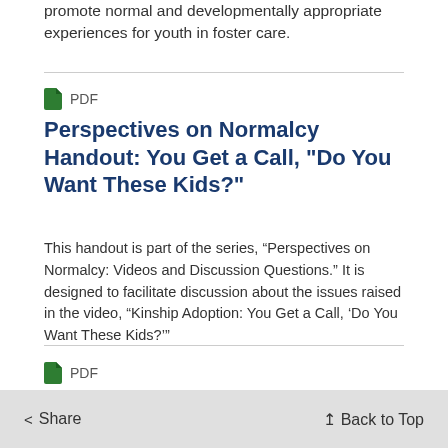promote normal and developmentally appropriate experiences for youth in foster care.
PDF
Perspectives on Normalcy Handout: You Get a Call, "Do You Want These Kids?"
This handout is part of the series, “Perspectives on Normalcy: Videos and Discussion Questions.” It is designed to facilitate discussion about the issues raised in the video, “Kinship Adoption: You Get a Call, ‘Do You Want These Kids?’”
PDF
Perspectives on Normalcy Handout: DNA Doesn’t Define
< Share
↥ Back to Top